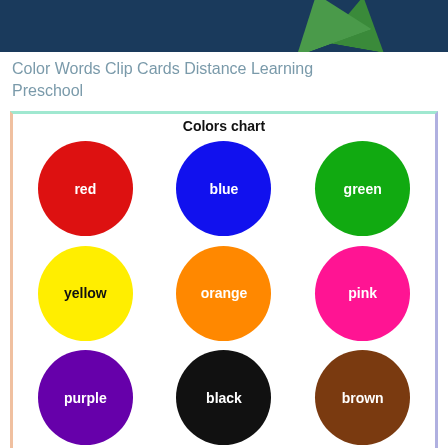[Figure (photo): Dark blue background with green leaf/plant shapes visible at top of page]
Color Words Clip Cards Distance Learning Preschool
[Figure (infographic): Colors chart showing 9 colored circles in a 3x3 grid: red, blue, green, yellow, orange, pink, purple, black, brown. Each circle contains the color name in white text.]